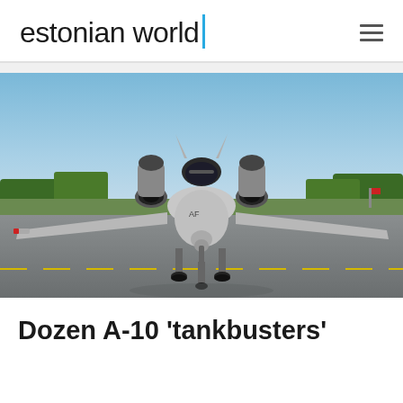estonian world
[Figure (photo): A-10 Thunderbolt II 'tankbuster' aircraft taxiing on a runway, viewed from front-center, with a clear blue sky and green trees in the background.]
Dozen A-10 'tankbusters'